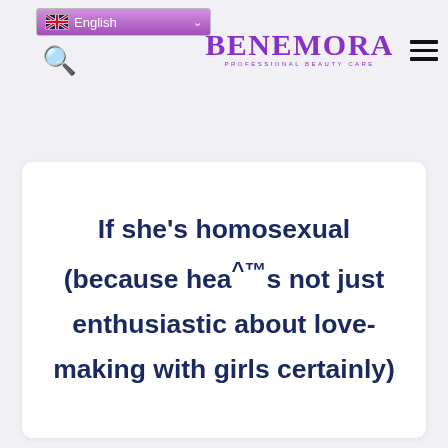English | BENEMORA PROFESSIONAL BEAUTY CARE
If she’s homosexual (because hea^™s not just enthusiastic about love-making with girls certainly)